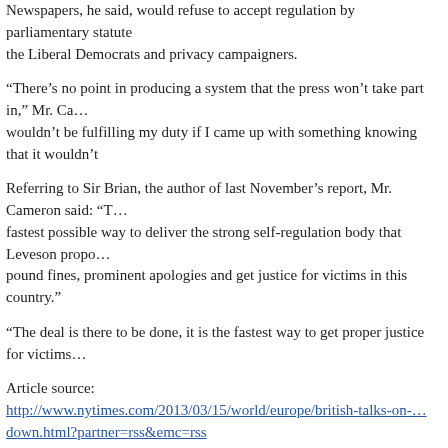Newspapers, he said, would refuse to accept regulation by parliamentary statute — the Liberal Democrats and privacy campaigners.
“There’s no point in producing a system that the press won’t take part in,” Mr. Ca… wouldn’t be fulfilling my duty if I came up with something knowing that it wouldn’t…
Referring to Sir Brian, the author of last November’s report, Mr. Cameron said: “T… fastest possible way to deliver the strong self-regulation body that Leveson propo… pound fines, prominent apologies and get justice for victims in this country.”
“The deal is there to be done, it is the fastest way to get proper justice for victims…
Article source: http://www.nytimes.com/2013/03/15/world/europe/british-talks-on-… down.html?partner=rss&emc=rss
Filed Under: Media Business   Tagged With: leveson, mr murdoch, phone…
DealBook: Liberty Global in Talks to Buy Virgin Me…
February 5, 2013 by NewsMaker   Leave a Comment
[Figure (photo): Photograph of a gray-haired man, cropped from chest up, against a dark green background.]